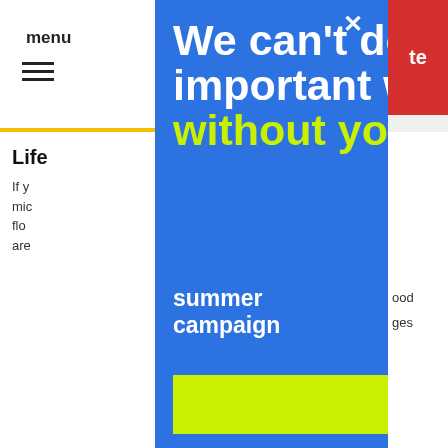menu
[Figure (screenshot): Background website page with navigation bar, menu icon, red donate button, yellow horizontal line, and article body text starting with 'Life' heading and body paragraph beginning 'If y... mic... flo... are']
We can’t do this important work without you.
summer campaign
[Figure (logo): Next Avenue logo with colored geometric squares (yellow, teal, gray, red) and the text 'next avenue']
DONATE TODAY